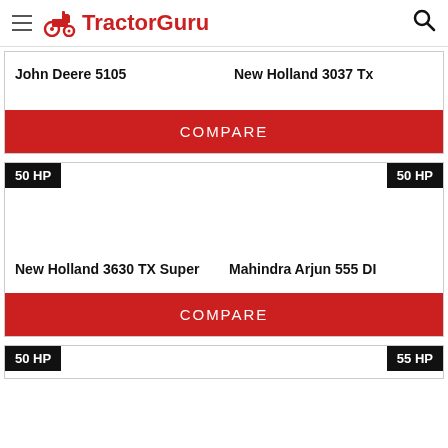TractorGuru
John Deere 5105 | New Holland 3037 Tx
COMPARE
50 HP | 50 HP
New Holland 3630 TX Super | Mahindra Arjun 555 DI
COMPARE
50 HP | 55 HP